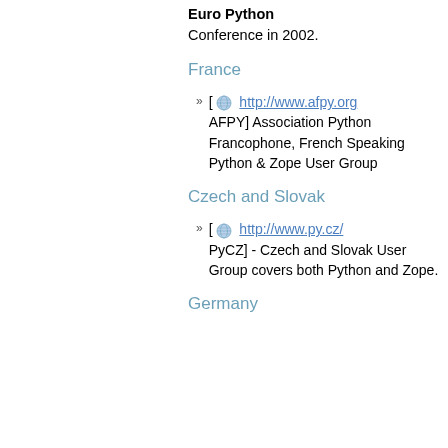Euro Python Conference in 2002.
France
[ http://www.afpy.org AFPY] Association Python Francophone, French Speaking Python & Zope User Group
Czech and Slovak
[ http://www.py.cz/ PyCZ] - Czech and Slovak User Group covers both Python and Zope.
Germany